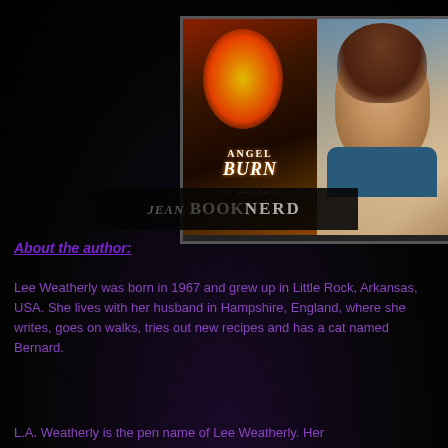[Figure (photo): Composite image showing the book cover of 'Angel Burn' by L.A. Weatherly on the left (featuring a glowing fiery figure) and a photo of the author (a smiling woman with brown hair in a teal shirt, standing in front of bookshelves) on the right. Below both images is a 'Jean BookNerd' banner logo.]
About the author:
Lee Weatherly was born in 1967 and grew up in Little Rock, Arkansas, USA. She lives with her husband in Hampshire, England, where she writes, goes on walks, tries out new recipes and has a cat named Bernard.
L.A. Weatherly is the pen name of Lee Weatherly. Her